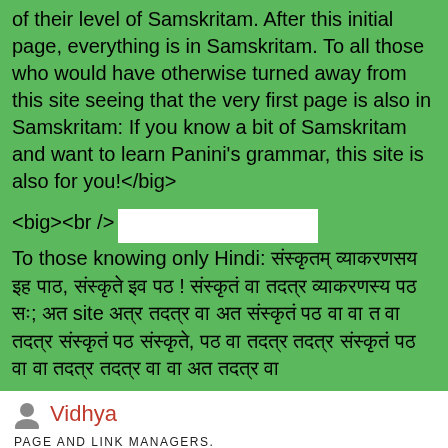of their level of Samskritam. After this initial page, everything is in Samskritam. To all those who would have otherwise turned away from this site seeing that the very first page is also in Samskritam: If you know a bit of Samskritam and want to learn Panini’s grammar, this site is also for you!</big>
<big><br />
To those knowing only Hindi: [Hindi text] site [Hindi text]
Vidhya
PAGE AND LINK MANAGERS.
EDITS
Cookies help us deliver our services. By using our services, you agree to our use of cookies.
More information
OK